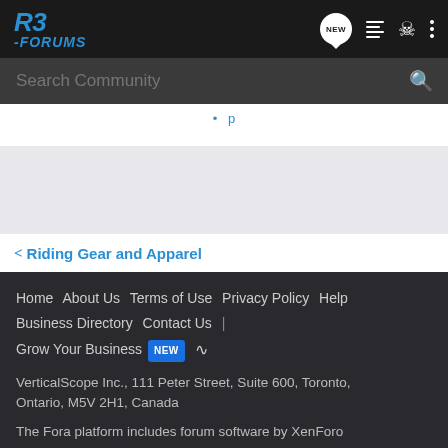R3 Forums logo, NEW, list, user, menu icons
Search Community
< Riding Gear and Apparel
Home  About Us  Terms of Use  Privacy Policy  Help  Business Directory  Contact Us  |  Grow Your Business  NEW  RSS
VerticalScope Inc., 111 Peter Street, Suite 600, Toronto, Ontario, M5V 2H1, Canada
The Fora platform includes forum software by XenForo
r3-forums.com is an independent Yamaha enthusiast website